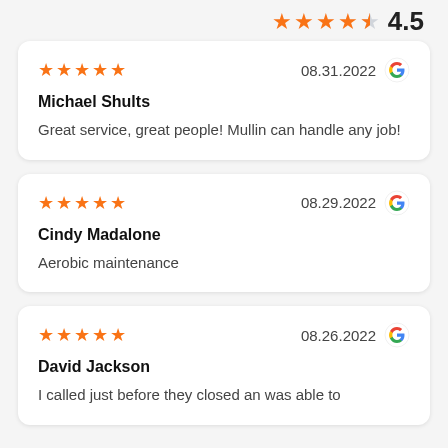[Figure (other): Star rating display showing 4 orange stars, 1 half-filled star, and rating number 4.5]
Michael Shults — 08.31.2022 — 5 stars — Great service, great people! Mullin can handle any job!
Cindy Madalone — 08.29.2022 — 5 stars — Aerobic maintenance
David Jackson — 08.26.2022 — 5 stars — I called just before they closed an was able to